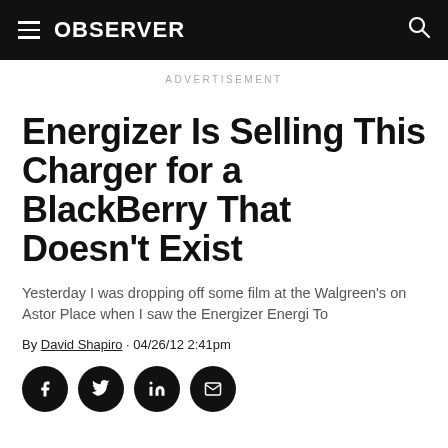OBSERVER
ADVERTISEMENT
Energizer Is Selling This Charger for a BlackBerry That Doesn't Exist
Yesterday I was dropping off some film at the Walgreen's on Astor Place when I saw the Energizer Energi To
By David Shapiro · 04/26/12 2:41pm